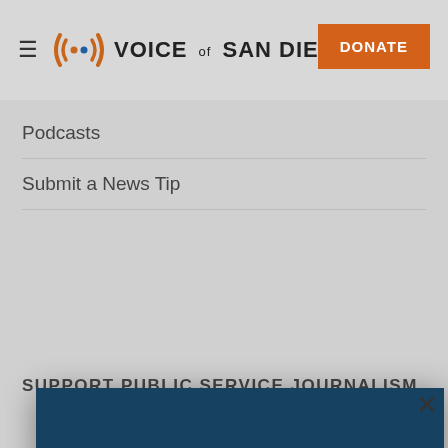Voice of San Diego
Podcasts
Submit a News Tip
SUPPORT PUBLIC SERVICE JOURNALISM
[Figure (photo): Modal popup showing two people conversing outdoors with trees in background, overlaid with a dark blue tint. Text reads LOCAL NEWS MATTERS at the bottom.]